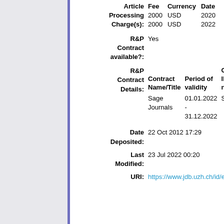| Article Processing Charge(s): | Fee | Currency | Date |
| --- | --- | --- | --- |
|  | 2000 | USD | 2020 |
|  | 2000 | USD | 2022 |
| R&P Contract available?: |  |
| --- | --- |
|  | Yes |
| R&P Contract Details: | Contract Name/Title | Period of validity | Contract ID or number |
| --- | --- | --- | --- |
|  | Sage Journals | 01.01.2022 - 31.12.2022 | SAGE202... |
| Date Deposited: |  |
| --- | --- |
|  | 22 Oct 2012 17:29 |
| Last Modified: |  |
| --- | --- |
|  | 23 Jul 2022 00:20 |
| URI: |  |
| --- | --- |
|  | https://www.jdb.uzh.ch/id/eprint/30... |